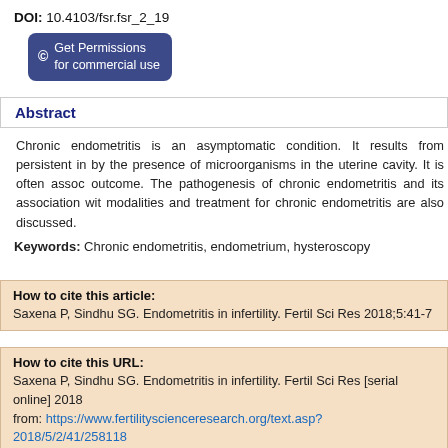DOI: 10.4103/fsr.fsr_2_19
[Figure (other): Button: Get Permissions for commercial use]
Abstract
Chronic endometritis is an asymptomatic condition. It results from persistent in by the presence of microorganisms in the uterine cavity. It is often assoc outcome. The pathogenesis of chronic endometritis and its association with modalities and treatment for chronic endometritis are also discussed.
Keywords: Chronic endometritis, endometrium, hysteroscopy
How to cite this article:
Saxena P, Sindhu SG. Endometritis in infertility. Fertil Sci Res 2018;5:41-7
How to cite this URL:
Saxena P, Sindhu SG. Endometritis in infertility. Fertil Sci Res [serial online] 2018 from: https://www.fertilityscienceresearch.org/text.asp?2018/5/2/41/258118